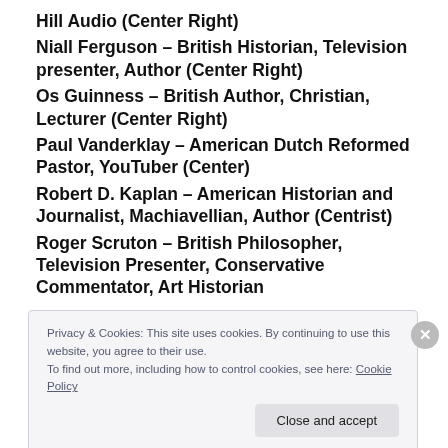Hill Audio (Center Right)
Niall Ferguson – British Historian, Television presenter, Author (Center Right)
Os Guinness – British Author, Christian, Lecturer (Center Right)
Paul Vanderklay – American Dutch Reformed Pastor, YouTuber (Center)
Robert D. Kaplan – American Historian and Journalist, Machiavellian, Author (Centrist)
Roger Scruton – British Philosopher, Television Presenter, Conservative Commentator, Art Historian
Privacy & Cookies: This site uses cookies. By continuing to use this website, you agree to their use.
To find out more, including how to control cookies, see here: Cookie Policy